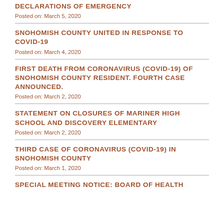DECLARATIONS OF EMERGENCY
Posted on: March 5, 2020
SNOHOMISH COUNTY UNITED IN RESPONSE TO COVID-19
Posted on: March 4, 2020
FIRST DEATH FROM CORONAVIRUS (COVID-19) OF SNOHOMISH COUNTY RESIDENT. FOURTH CASE ANNOUNCED.
Posted on: March 2, 2020
STATEMENT ON CLOSURES OF MARINER HIGH SCHOOL AND DISCOVERY ELEMENTARY
Posted on: March 2, 2020
THIRD CASE OF CORONAVIRUS (COVID-19) IN SNOHOMISH COUNTY
Posted on: March 1, 2020
SPECIAL MEETING NOTICE: BOARD OF HEALTH